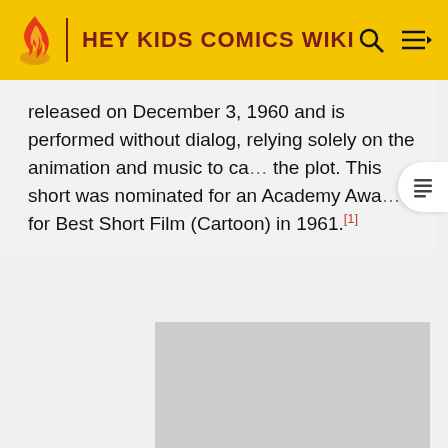HEY KIDS COMICS WIKI
released on December 3, 1960 and is performed without dialog, relying solely on the animation and music to carry the plot. This short was nominated for an Academy Award for Best Short Film (Cartoon) in 1961.[1]
[Figure (photo): Gray placeholder image rectangle]